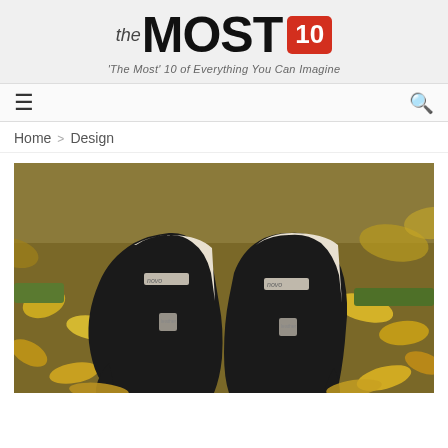[Figure (logo): theMOST10 logo with tagline 'The Most' 10 of Everything You Can Imagine']
[Figure (other): Navigation bar with hamburger menu icon on left and search icon on right]
Home > Design
[Figure (photo): Pair of black suede high heel shoes (Novo brand) placed on autumn leaves and grass]